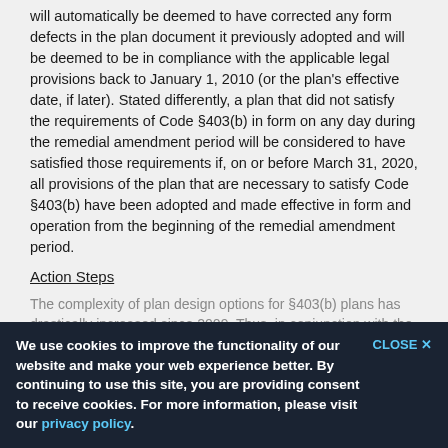March 31, 2020 (the last day of the remedial amendment period), it will automatically be deemed to have corrected any form defects in the plan document it previously adopted and will be deemed to be in compliance with the applicable legal provisions back to January 1, 2010 (or the plan's effective date, if later). Stated differently, a plan that did not satisfy the requirements of Code §403(b) in form on any day during the remedial amendment period will be considered to have satisfied those requirements if, on or before March 31, 2020, all provisions of the plan that are necessary to satisfy Code §403(b) have been adopted and made effective in form and operation from the beginning of the remedial amendment period.
Action Steps
The complexity of plan design options for §403(b) plans has drastically increased since 2009. Thus, in conjunction with the adoption of a pre-approved plan, plan sponsors should take the remedial amendment period opportunity to also self-audit their plan operations and design structure, and:
Carefully review their plan provisions to ensure that they mirror how the plan is being administered and operated;
We use cookies to improve the functionality of our website and make your web experience better. By continuing to use this site, you are providing consent to receive cookies. For more information, please visit our privacy policy.